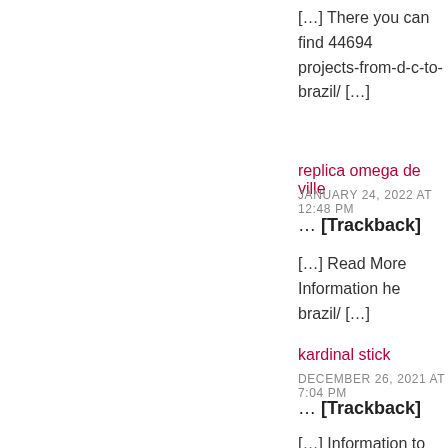[…] There you can find 44694 projects-from-d-c-to-brazil/ […]
replica omega de ville
JANUARY 24, 2022 AT 12:48 PM
... [Trackback]
[…] Read More Information here brazil/ […]
kardinal stick
DECEMBER 26, 2021 AT 7:04 PM
... [Trackback]
[…] Information to that Topic: w
Ford Transit Custom Sport Do
NOVEMBER 26, 2021 AT 7:18 PM
... [Trackback]
[…] Find More Info here on tha
https://www.valuewalk.com/the